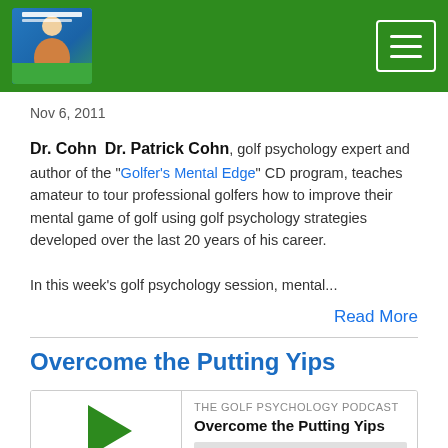[Figure (logo): The Golf Psychology Podcast logo with host photo]
Nov 6, 2011
Dr. Cohn  Dr. Patrick Cohn, golf psychology expert and author of the "Golfer's Mental Edge" CD program, teaches amateur to tour professional golfers how to improve their mental game of golf using golf psychology strategies developed over the last 20 years of his career.

In this week's golf psychology session, mental...
Read More
Overcome the Putting Yips
[Figure (screenshot): Podcast player widget for 'Overcome the Putting Yips' episode showing play button, progress bar, time 00:00:00, and control icons]